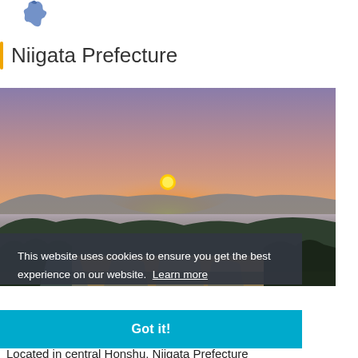[Figure (map): Small blue silhouette map icon of Niigata Prefecture, Japan]
Niigata Prefecture
[Figure (photo): Landscape photo of Niigata countryside at sunset: orange sun setting over misty hills and terraced rice paddies with forest in foreground]
This website uses cookies to ensure you get the best experience on our website. Learn more
Got it!
Located in central Honshu, Niigata Prefecture